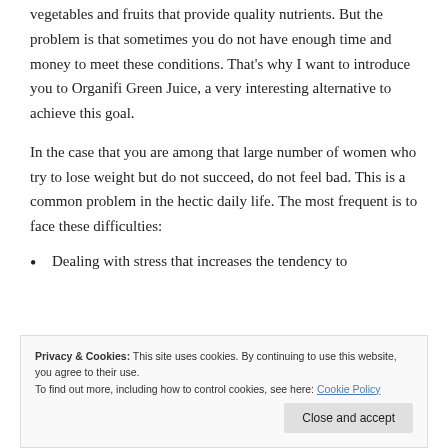vegetables and fruits that provide quality nutrients. But the problem is that sometimes you do not have enough time and money to meet these conditions. That's why I want to introduce you to Organifi Green Juice, a very interesting alternative to achieve this goal.
In the case that you are among that large number of women who try to lose weight but do not succeed, do not feel bad. This is a common problem in the hectic daily life. The most frequent is to face these difficulties:
Dealing with stress that increases the tendency to
Privacy & Cookies: This site uses cookies. By continuing to use this website, you agree to their use. To find out more, including how to control cookies, see here: Cookie Policy